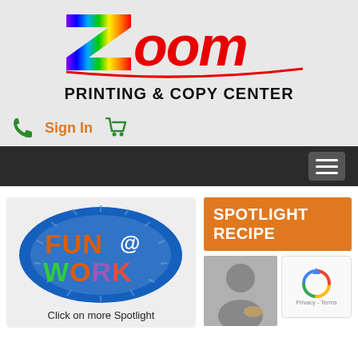[Figure (logo): Zoom Printing & Copy Center logo with colorful rainbow Z and red/black lettering]
Sign In
[Figure (screenshot): Website navigation bar with hamburger menu icon]
[Figure (illustration): Fun @ Work oval badge logo with colorful text on blue starburst background]
Click on more Spotlight
[Figure (infographic): Spotlight Recipe section with orange header, man holding food photo, and reCAPTCHA widget]